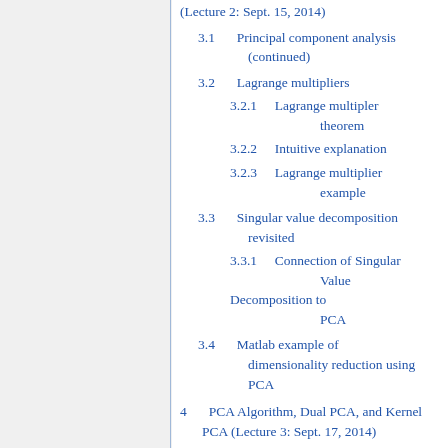(Lecture 2: Sept. 15, 2014)
3.1  Principal component analysis (continued)
3.2  Lagrange multipliers
3.2.1  Lagrange multipler theorem
3.2.2  Intuitive explanation
3.2.3  Lagrange multiplier example
3.3  Singular value decomposition revisited
3.3.1  Connection of Singular Value Decomposition to PCA
3.4  Matlab example of dimensionality reduction using PCA
4  PCA Algorithm, Dual PCA, and Kernel PCA (Lecture 3: Sept. 17, 2014)
4.1  PCA Algorithm (Algorithm 1)
4.1.1  Recover basis